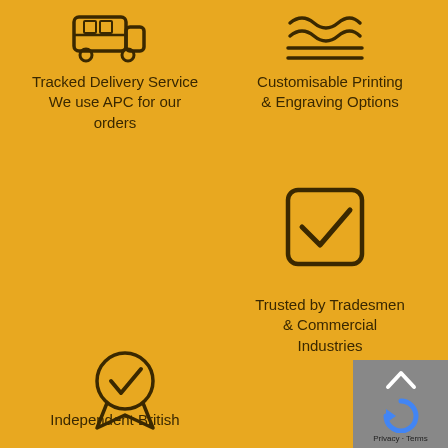[Figure (illustration): Bus/delivery truck icon at top left]
Tracked Delivery Service
We use APC for our orders
[Figure (illustration): Customisable printing/engraving wavy lines icon at top right]
Customisable Printing & Engraving Options
[Figure (illustration): Checkbox with checkmark icon at right]
Trusted by Tradesmen & Commercial Industries
[Figure (illustration): Award/badge with checkmark icon at bottom left]
Independent British
[Figure (other): Privacy overlay with scroll-to-top arrow, reCAPTCHA logo, and Privacy - Terms text]